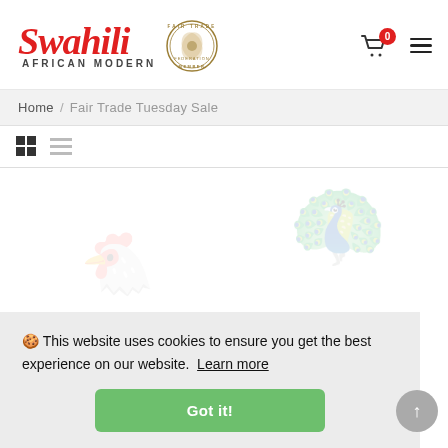[Figure (logo): Swahili African Modern logo with red italic script text and 'AFRICAN MODERN' subtitle]
[Figure (logo): Fair Trade Federation Member circular badge/seal in brown/tan colors]
0
Home / Fair Trade Tuesday Sale
🍪 This website uses cookies to ensure you get the best experience on our website.  Learn more
Got it!